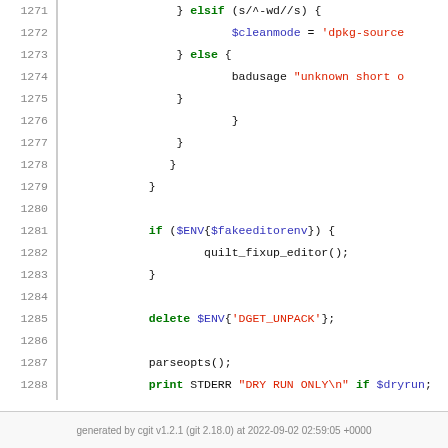[Figure (screenshot): Source code viewer showing Perl code lines 1271-1295 with syntax highlighting. Line numbers on left, code on right with green keywords, blue variables, red strings.]
generated by cgit v1.2.1 (git 2.18.0) at 2022-09-02 02:59:05 +0000